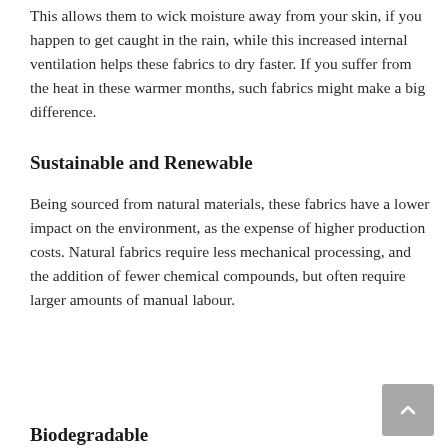This allows them to wick moisture away from your skin, if you happen to get caught in the rain, while this increased internal ventilation helps these fabrics to dry faster. If you suffer from the heat in these warmer months, such fabrics might make a big difference.
Sustainable and Renewable
Being sourced from natural materials, these fabrics have a lower impact on the environment, as the expense of higher production costs. Natural fabrics require less mechanical processing, and the addition of fewer chemical compounds, but often require larger amounts of manual labour.
Biodegradable